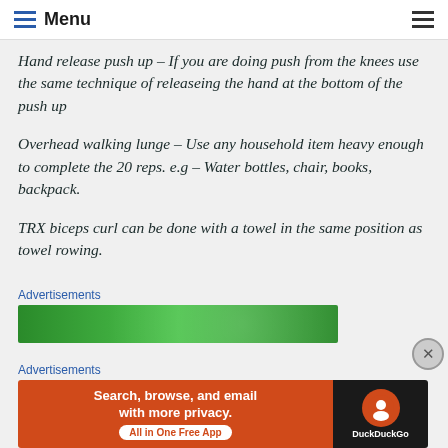Menu
Hand release push up – If you are doing push from the knees use the same technique of releaseing the hand at the bottom of the push up
Overhead walking lunge – Use any household item heavy enough to complete the 20 reps. e.g – Water bottles, chair, books, backpack.
TRX biceps curl can be done with a towel in the same position as towel rowing.
[Figure (other): Green advertisement banner]
Advertisements
[Figure (other): DuckDuckGo advertisement banner: Search, browse, and email with more privacy. All in One Free App]